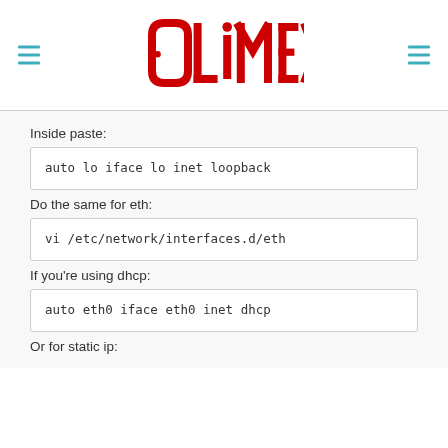[Figure (logo): Olimex logo in red circuit-board style lettering]
Inside paste:
auto lo
iface lo inet loopback
Do the same for eth:
vi /etc/network/interfaces.d/eth
If you're using dhcp:
auto eth0
iface eth0 inet dhcp
Or for static ip: